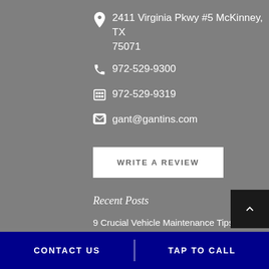2411 Virginia Pkwy #5 McKinney, TX 75071
972-529-9300
972-529-9319
gant@gantins.com
WRITE A REVIEW
Recent Posts
9 Crucial Vehicle Maintenance Tips if You Don't Drive Often
CONTACT US   TAP TO CALL